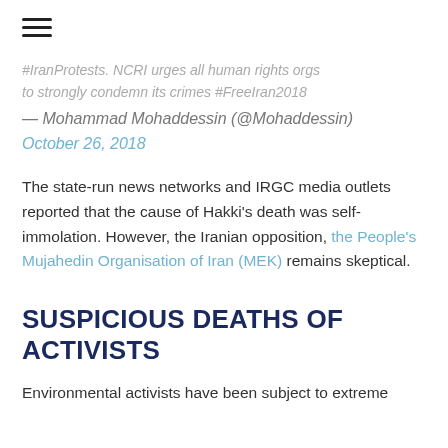#IranProtests. NCRI urges all human rights orgs to strongly condemn its crimes #FreeIran2018
— Mohammad Mohaddessin (@Mohaddessin) October 26, 2018
The state-run news networks and IRGC media outlets reported that the cause of Hakki's death was self-immolation. However, the Iranian opposition, the People's Mujahedin Organisation of Iran (MEK) remains skeptical.
SUSPICIOUS DEATHS OF ACTIVISTS
Environmental activists have been subject to extreme